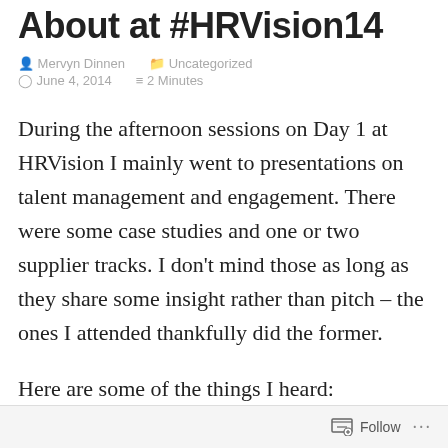About at #HRVision14
Mervyn Dinnen   Uncategorized
June 4, 2014   2 Minutes
During the afternoon sessions on Day 1 at HRVision I mainly went to presentations on talent management and engagement. There were some case studies and one or two supplier tracks. I don't mind those as long as they share some insight rather than pitch – the ones I attended thankfully did the former.
Here are some of the things I heard:
Follow  ...